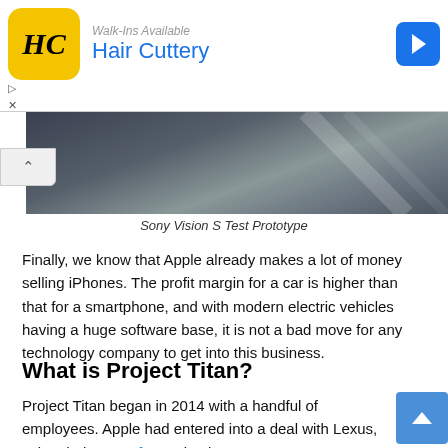[Figure (other): Advertisement banner for Hair Cuttery with yellow logo, blue text, and blue arrow icon]
[Figure (photo): Sony Vision S Test Prototype car image - dark background with car silhouette]
Sony Vision S Test Prototype
Finally, we know that Apple already makes a lot of money selling iPhones. The profit margin for a car is higher than that for a smartphone, and with modern electric vehicles having a huge software base, it is not a bad move for any technology company to get into this business.
What is Project Titan?
Project Titan began in 2014 with a handful of employees. Apple had entered into a deal with Lexus, using their SUVs for testing its autonomous systems. They made a $1 billion investment in Didi Chuxing in 2016, a ride-hailing service